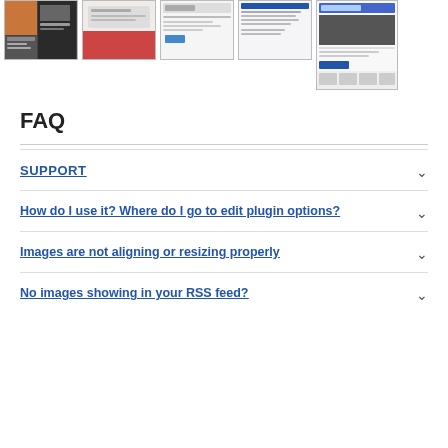[Figure (screenshot): Strip of five thumbnail screenshots of webpages/blog posts at the top of the page]
FAQ
SUPPORT
How do I use it? Where do I go to edit plugin options?
Images are not aligning or resizing properly
No images showing in your RSS feed?